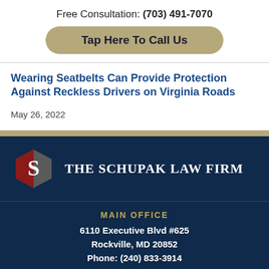Free Consultation: (703) 491-7070
Tap Here To Call Us
Wearing Seatbelts Can Provide Protection Against Reckless Drivers on Virginia Roads
May 26, 2022
[Figure (logo): The Schupak Law Firm logo with hexagonal S icon in red and grey, beside firm name in white text on dark navy background]
MAIN OFFICE
6110 Executive Blvd #625
Rockville, MD 20852
Phone: (240) 833-3914
Fax: (240) 833-2974